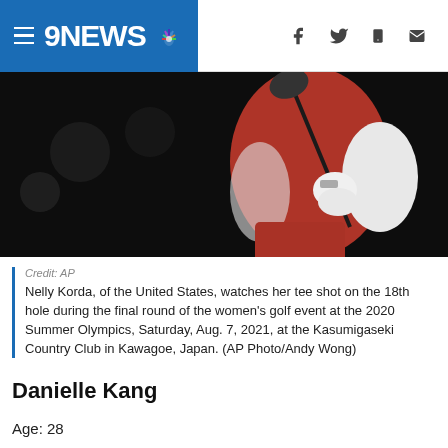9NEWS
[Figure (photo): Golfer in red outfit swinging a golf club, shot from below against dark background]
Credit: AP
Nelly Korda, of the United States, watches her tee shot on the 18th hole during the final round of the women's golf event at the 2020 Summer Olympics, Saturday, Aug. 7, 2021, at the Kasumigaseki Country Club in Kawagoe, Japan. (AP Photo/Andy Wong)
Danielle Kang
Age: 28
World ranking: 7